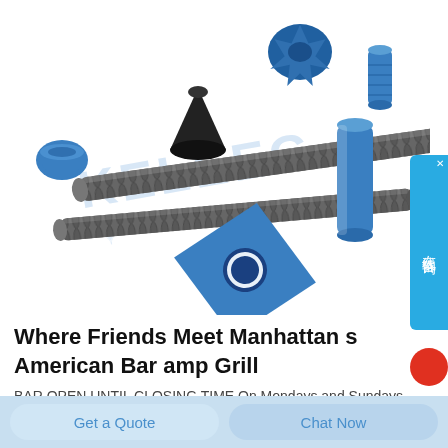[Figure (photo): Product photo showing blue and grey industrial components: corrugated metal flexible conduit tubes, blue plastic fittings, connectors, a blue diamond-shaped washer with hole, and a black cone/funnel part, scattered on white background with watermark text 'KELEEG']
Where Friends Meet Manhattan s American Bar amp Grill
BAR OPEN UNTIL CLOSING TIME On Mondays and Sundays Manhattan s may b
Get a Quote
Chat Now